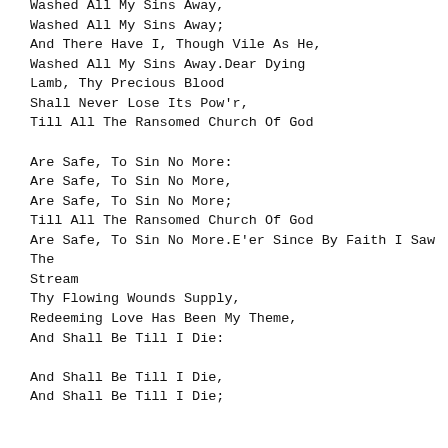Washed All My Sins Away,
Washed All My Sins Away;
And There Have I, Though Vile As He,
Washed All My Sins Away.Dear Dying Lamb, Thy Precious Blood
Shall Never Lose Its Pow'r,
Till All The Ransomed Church Of God
Are Safe, To Sin No More:
Are Safe, To Sin No More,
Are Safe, To Sin No More;
Till All The Ransomed Church Of God
Are Safe, To Sin No More.E'er Since By Faith I Saw The Stream
Thy Flowing Wounds Supply,
Redeeming Love Has Been My Theme,
And Shall Be Till I Die:
And Shall Be Till I Die,
And Shall Be Till I Die;